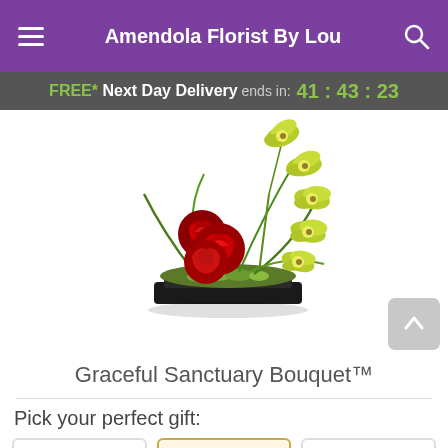Amendola Florist By Lou
FREE* Next Day Delivery ends in: 41:43:23
[Figure (photo): Graceful Sanctuary Bouquet arrangement featuring red roses and green cymbidium orchids in a black rectangular vase with green moss and grass accents]
Graceful Sanctuary Bouquet™
Pick your perfect gift: